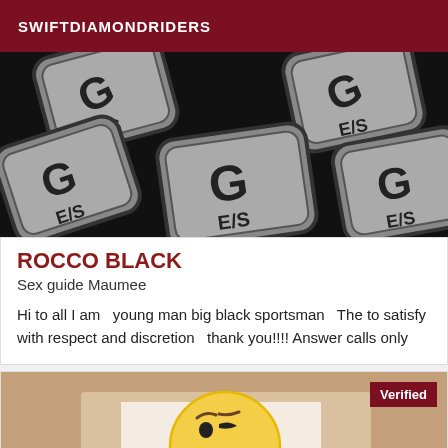SWIFTDIAMONDRIDERS
[Figure (photo): Close-up photo of keyboard keys or tiles with letters/symbols in grey on dark background]
ROCCO BLACK
Sex guide Maumee
Hi to all I am   young man big black sportsman   The to satisfy with respect and discretion   thank you!!!! Answer calls only
[Figure (photo): Photo with emoji face (confused/skeptical face) overlaid on a light brown/beige background, with a Verified badge in dark red]